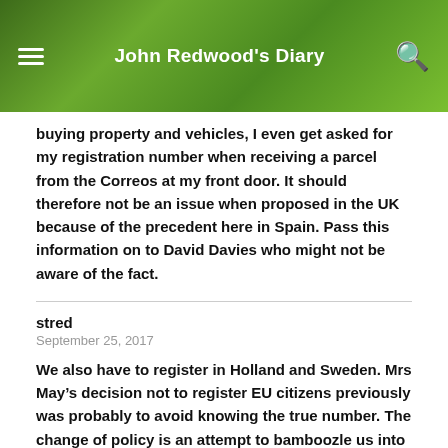John Redwood's Diary
buying property and vehicles, I even get asked for my registration number when receiving a parcel from the Correos at my front door. It should therefore not be an issue when proposed in the UK because of the precedent here in Spain. Pass this information on to David Davies who might not be aware of the fact.
stred
September 25, 2017
We also have to register in Holland and Sweden. Mrs May's decision not to register EU citizens previously was probably to avoid knowing the true number. The change of policy is an attempt to bamboozle us into thinking that she is being a